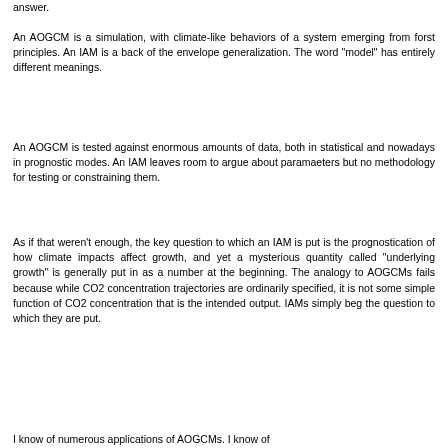answer.
An AOGCM is a simulation, with climate-like behaviors of a system emerging from forst principles. An IAM is a back of the envelope generalization. The word "model" has entirely different meanings.
An AOGCM is tested against enormous amounts of data, both in statistical and nowadays in prognostic modes. An IAM leaves room to argue about paramaeters but no methodology for testing or constraining them.
As if that weren't enough, the key question to which an IAM is put is the prognostication of how climate impacts affect growth, and yet a mysterious quantity called "underlying growth" is generally put in as a number at the beginning. The analogy to AOGCMs fails because while CO2 concentration trajectories are ordinarily specified, it is not some simple function of CO2 concentration that is the intended output. IAMs simply beg the question to which they are put.
I know of numerous applications of AOGCMs. I know of